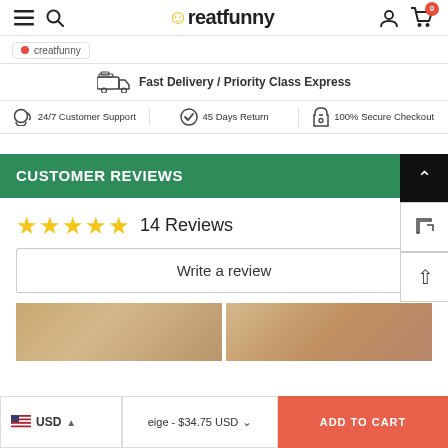Creatfunny — navigation bar with menu, search, account, cart (0)
creatfunny
Fast Delivery / Priority Class Express
24/7 Customer Support | 45 Days Return | 100% Secure Checkout
CUSTOMER REVIEWS
14 Reviews
Write a review
[Figure (photo): Two product images showing a beige/tan textured item]
USD  Beige - $34.75 USD  ADD TO CART